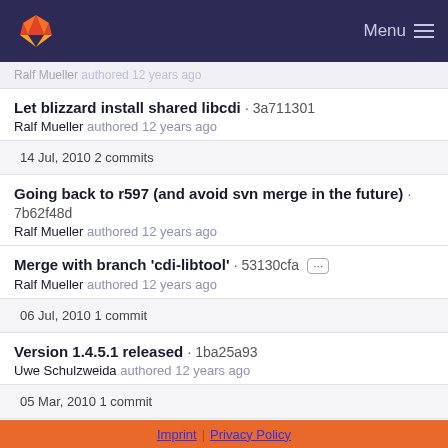Menu
Ralf Mueller authored 12 years ago
Let blizzard install shared libcdi · 3a711301
Ralf Mueller authored 12 years ago
14 Jul, 2010 2 commits
Going back to r597 (and avoid svn merge in the future) · 7b62f48d
Ralf Mueller authored 12 years ago
Merge with branch 'cdi-libtool' · 53130cfa
Ralf Mueller authored 12 years ago
06 Jul, 2010 1 commit
Version 1.4.5.1 released · 1ba25a93
Uwe Schulzweida authored 12 years ago
05 Mar, 2010 1 commit
Imprint | Privacy Policy